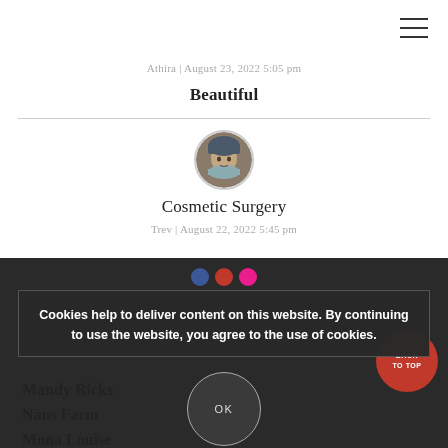Athira | August 23, 2022 5:05 pm
Beautiful
[Figure (photo): Circular avatar photo of a person wearing winter clothing]
Cosmetic Surgery
Trev | August 22, 2022 5:45 pm
Cookies help to deliver content on this website. By continuing to use the website, you agree to the use of cookies.
OK
SOME BLOGS I FOLLOW
Mandy Ricks
Nans Farm
Mona Louise